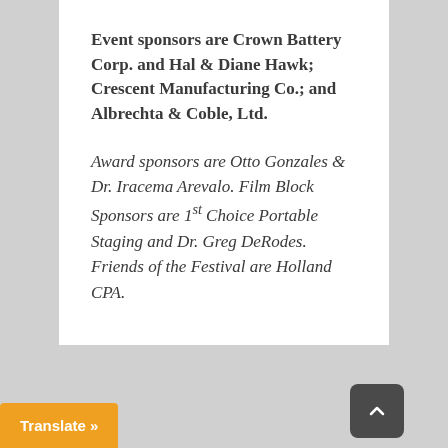Event sponsors are Crown Battery Corp. and Hal & Diane Hawk; Crescent Manufacturing Co.; and Albrechta & Coble, Ltd.
Award sponsors are Otto Gonzales & Dr. Iracema Arevalo. Film Block Sponsors are 1st Choice Portable Staging and Dr. Greg DeRodes. Friends of the Festival are Holland CPA.